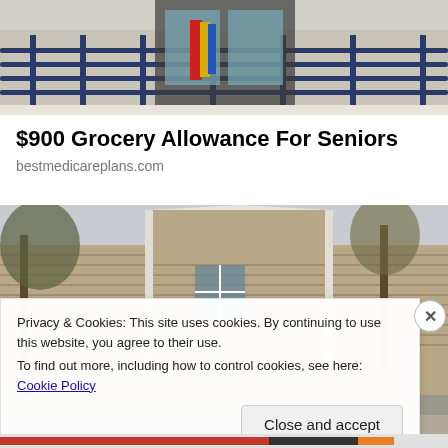[Figure (photo): Exterior of a building entrance with metal railings and glass doors, a ramp or stairway visible]
$900 Grocery Allowance For Seniors
bestmedicareplans.com
[Figure (photo): Exterior of a tan/beige sided house with trees in the background]
Privacy & Cookies: This site uses cookies. By continuing to use this website, you agree to their use.
To find out more, including how to control cookies, see here: Cookie Policy
Close and accept